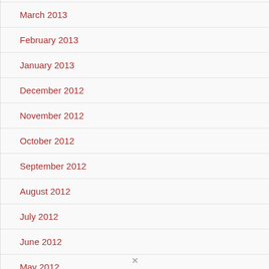March 2013
February 2013
January 2013
December 2012
November 2012
October 2012
September 2012
August 2012
July 2012
June 2012
May 2012
April 2012